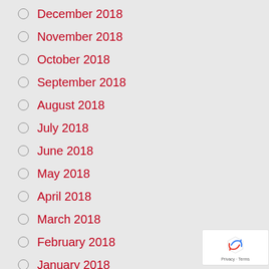December 2018
November 2018
October 2018
September 2018
August 2018
July 2018
June 2018
May 2018
April 2018
March 2018
February 2018
January 2018
December 2017
November 2017
October 2017
August 2017
July 2017
June 2017
May 2017